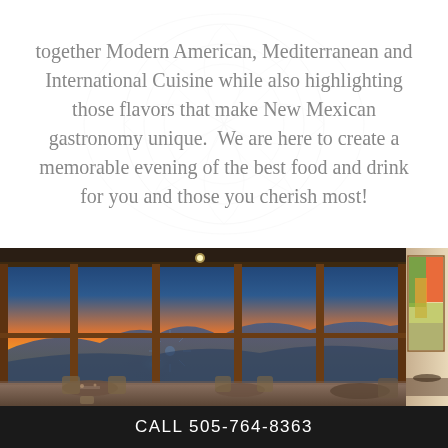together Modern American, Mediterranean and International Cuisine while also highlighting those flavors that make New Mexican gastronomy unique.  We are here to create a memorable evening of the best food and drink for you and those you cherish most!
[Figure (photo): Interior of a restaurant with floor-to-ceiling wooden-framed windows overlooking a dramatic sunset over mountains. Tables and chairs are set inside. A colorful painting is visible on the right wall.]
CALL 505-764-8363